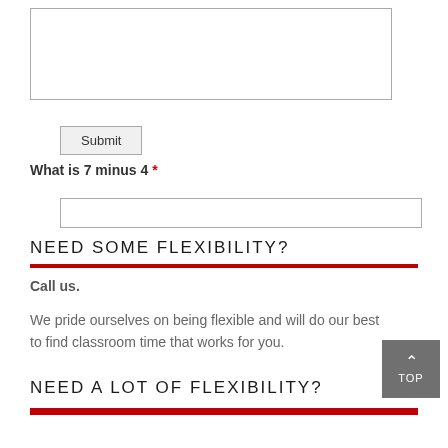[Figure (other): Textarea input field for user comments or message]
Submit
What is 7 minus 4 *
[Figure (other): Single-line text input field for math answer]
NEED SOME FLEXIBILITY?
Call us.
We pride ourselves on being flexible and will do our best to find classroom time that works for you.
NEED A LOT OF FLEXIBILITY?